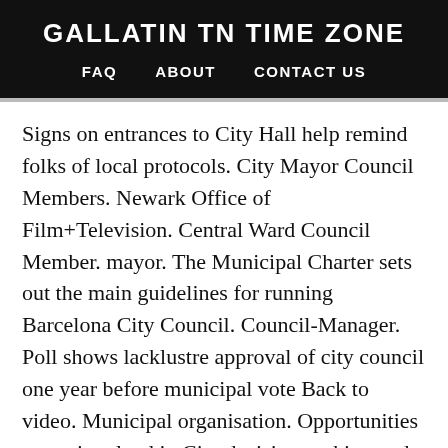GALLATIN TN TIME ZONE
FAQ   ABOUT   CONTACT US
Signs on entrances to City Hall help remind folks of local protocols. City Mayor Council Members. Newark Office of Film+Television. Central Ward Council Member. mayor. The Municipal Charter sets out the main guidelines for running Barcelona City Council. Council-Manager. Poll shows lacklustre approval of city council one year before municipal vote Back to video. Municipal organisation. Opportunities to get involved in City decision-making and provide your input into decisions that affect you. Both councilors were reelected in the